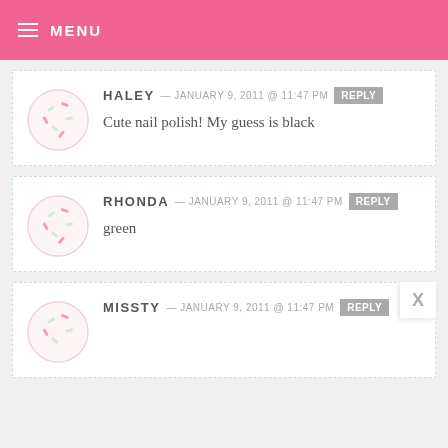MENU
HALEY — JANUARY 9, 2011 @ 11:47 PM REPLY
Cute nail polish! My guess is black
RHONDA — JANUARY 9, 2011 @ 11:47 PM REPLY
green
MISSTY — JANUARY 9, 2011 @ 11:47 PM REPLY